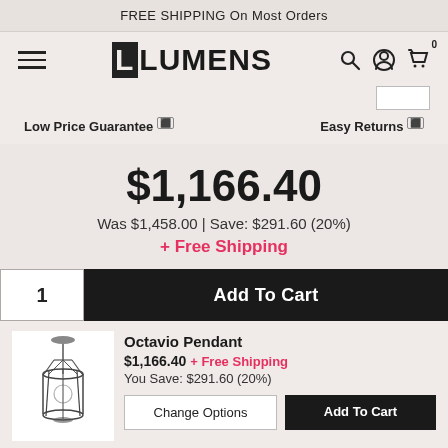FREE SHIPPING On Most Orders
[Figure (logo): LUMENS logo with stylized bracket]
Low Price Guarantee  Easy Returns
$1,166.40
Was $1,458.00 | Save: $291.60 (20%)
+ Free Shipping
1  Add To Cart
Octavio Pendant $1,166.40 + Free Shipping You Save: $291.60 (20%)
Change Options  Add To Cart